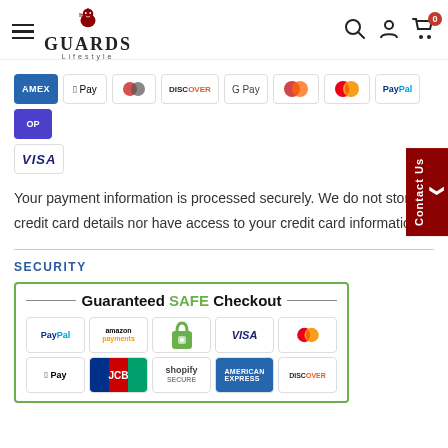[Figure (screenshot): Guards Lifestyle website navigation bar with hamburger menu, logo with lion, search, account, and cart icons]
[Figure (screenshot): Payment method icons: AMEX, Apple Pay, Diners, Discover, Google Pay, Maestro, Mastercard, PayPal, Pay (partial), Visa]
Your payment information is processed securely. We do not store credit card details nor have access to your credit card information.
SECURITY
[Figure (infographic): Guaranteed SAFE Checkout banner with PayPal, Amazon Payments, lock/shopify secure, VISA, Mastercard, Apple Pay, JCB, American Express, Discover logos]